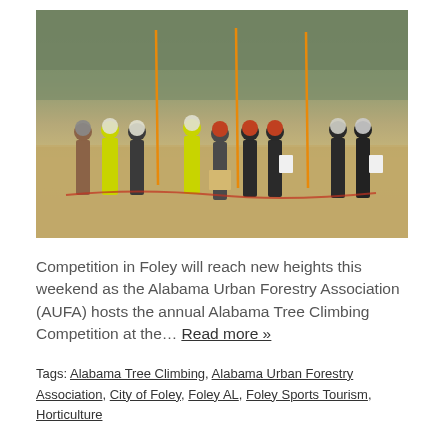[Figure (photo): Outdoor scene showing a group of people wearing hard hats and high-visibility jackets standing in a field with bare trees in the background, participating in what appears to be a tree climbing competition training event. Orange marker poles are visible in the ground.]
Competition in Foley will reach new heights this weekend as the Alabama Urban Forestry Association (AUFA) hosts the annual Alabama Tree Climbing Competition at the… Read more »
Tags: Alabama Tree Climbing, Alabama Urban Forestry Association, City of Foley, Foley AL, Foley Sports Tourism, Horticulture